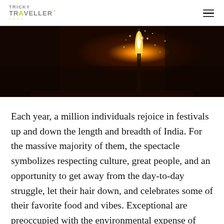TRICKY TRAVELLER
[Figure (photo): Dark background photo showing a bright flame or firework spark against a dark night background, partially visible at top of page]
Each year, a million individuals rejoice in festivals up and down the length and breadth of India. For the massive majority of them, the spectacle symbolizes respecting culture, great people, and an opportunity to get away from the day-to-day struggle, let their hair down, and celebrates some of their favorite food and vibes. Exceptional are preoccupied with the environmental expense of their extravagances. Yet, the effect that festivals